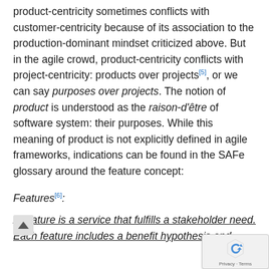product-centricity sometimes conflicts with customer-centricity because of its association to the production-dominant mindset criticized above. But in the agile crowd, product-centricity conflicts with project-centricity: products over projects[5], or we can say purposes over projects. The notion of product is understood as the raison-d'être of software system: their purposes. While this meaning of product is not explicitly defined in agile frameworks, indications can be found in the SAFe glossary around the feature concept:
Features[6]:
A feature is a service that fulfills a stakeholder need. Each feature includes a benefit hypothesis and